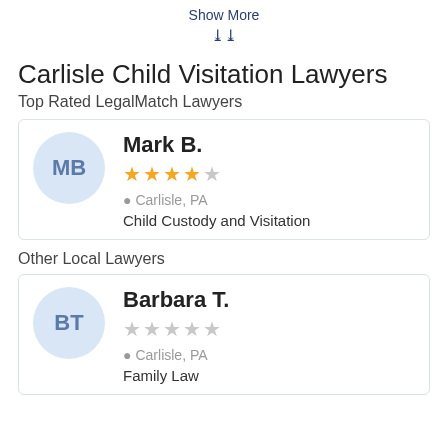Show More
Carlisle Child Visitation Lawyers
Top Rated LegalMatch Lawyers
Mark B. | 4 out of 5 stars | Carlisle, PA | Child Custody and Visitation
Other Local Lawyers
Barbara T. | 0 out of 5 stars | Carlisle, PA | Family Law